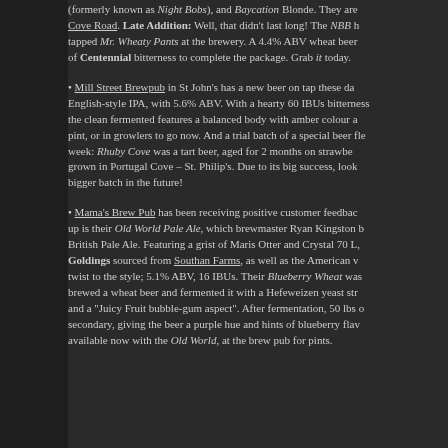(formerly known as Night Bobs), and Baycation Blonde. They are [Cove Road]. Late Addition: Well, that didn't last long! The NBB ha tapped Mr. Wheaty Pants at the brewery. A 4.4% ABV wheat beer of Centennial bitterness to complete the package. Grab it today.
Mill Street Brewpub in St John's has a new beer on tap these da English-style IPA, with 5.6% ABV. With a hearty 60 IBUs bitterness the clean fermented features a balanced body with amber colour a pint, or in growlers to go now. And a trial batch of a special beer fle week: Rhuby Cove was a tart beer, aged for 2 months on strawbe grown in Portugal Cove – St. Philip's. Due to its big success, look bigger batch in the future!
Mama's Brew Pub has been receiving positive customer feedbac up is their Old World Pale Ale, which brewmaster Ryan Kingston b British Pale Ale. Featuring a grist of Maris Otter and Crystal 70 L, Goldings sourced from Southan Farms, as well as the American twist to the style; 5.1% ABV, 16 IBUs. Their Blueberry Wheat was brewed a wheat beer and fermented it with a Hefeweizen yeast str and a "Juicy Fruit bubble-gum aspect". After fermentation, 50 lbs o secondary, giving the beer a purple hue and hints of blueberry flav available now with the Old World, at the brew pub for pints.